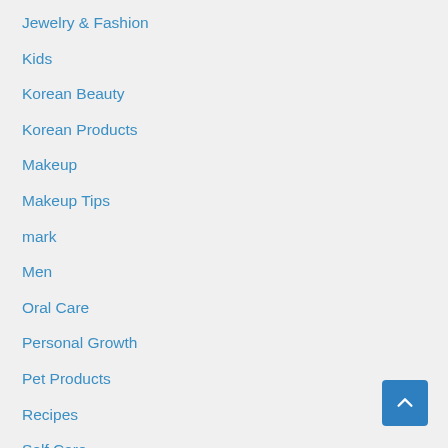Jewelry & Fashion
Kids
Korean Beauty
Korean Products
Makeup
Makeup Tips
mark
Men
Oral Care
Personal Growth
Pet Products
Recipes
Self Care
Sell Avon
Sell Avon Online